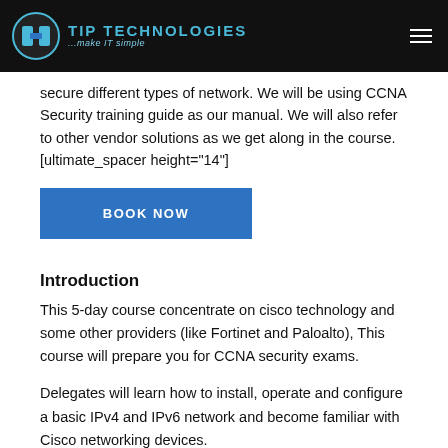TIP TECHNOLOGIES ...make IT simple
secure different types of network. We will be using CCNA Security training guide as our manual. We will also refer to other vendor solutions as we get along in the course. [ultimate_spacer height="14"]
BOOK NOW
Introduction
This 5-day course concentrate on cisco technology and some other providers (like Fortinet and Paloalto), This course will prepare you for CCNA security exams.
Delegates will learn how to install, operate and configure a basic IPv4 and IPv6 network and become familiar with Cisco networking devices.